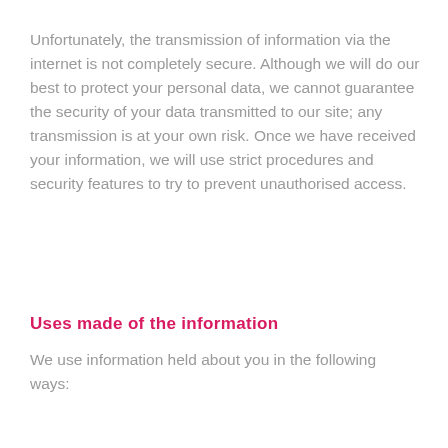Unfortunately, the transmission of information via the internet is not completely secure. Although we will do our best to protect your personal data, we cannot guarantee the security of your data transmitted to our site; any transmission is at your own risk. Once we have received your information, we will use strict procedures and security features to try to prevent unauthorised access.
Uses made of the information
We use information held about you in the following ways: